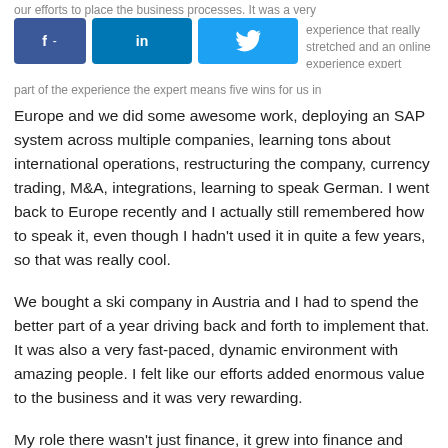[Figure (other): Social media share buttons: Facebook (f -), LinkedIn (in), Twitter (bird icon)]
Europe and we did some awesome work, deploying an SAP system across multiple companies, learning tons about international operations, restructuring the company, currency trading, M&A, integrations, learning to speak German. I went back to Europe recently and I actually still remembered how to speak it, even though I hadn't used it in quite a few years, so that was really cool.
We bought a ski company in Austria and I had to spend the better part of a year driving back and forth to implement that. It was also a very fast-paced, dynamic environment with amazing people. I felt like our efforts added enormous value to the business and it was very rewarding.
My role there wasn't just finance, it grew into finance and operations. I was basically COO of the European operation and heavily involved with the IT infrastructure. Our IT initiatives ultimately led me to the next frontier, which at the time was the nascent Internet infrastructure space as we were beginning to leverage the Internet in